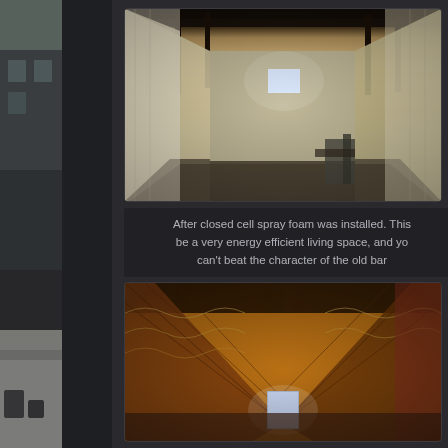[Figure (photo): Left strip showing outdoor building exterior with rooftop and sky]
[Figure (photo): Interior of a barn after closed cell spray foam insulation was installed. Long rectangular space with foam-covered walls and ceiling, window visible at far end, construction materials on floor.]
After closed cell spray foam was installed. This be a very energy efficient living space, and yo can't beat the character of the old bar
[Figure (photo): Interior of an old barn attic showing exposed rafters covered with layered insulation material, warm amber/orange tones, window visible at far end.]